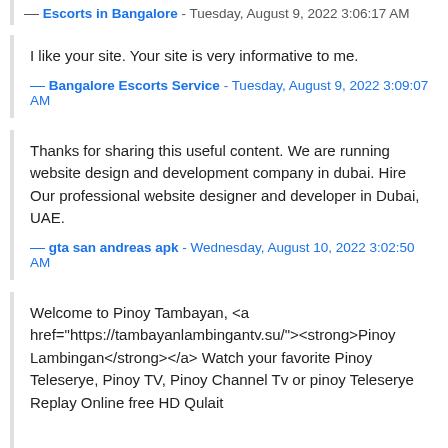— Escorts in Bangalore - Tuesday, August 9, 2022 3:06:17 AM
I like your site. Your site is very informative to me.
— Bangalore Escorts Service - Tuesday, August 9, 2022 3:09:07 AM
Thanks for sharing this useful content. We are running website design and development company in dubai. Hire Our professional website designer and developer in Dubai, UAE.
— gta san andreas apk - Wednesday, August 10, 2022 3:02:50 AM
Welcome to Pinoy Tambayan, <a href="https://tambayanlambingantv.su/"><strong>Pinoy Lambingan</strong></a> Watch your favorite Pinoy Teleserye, Pinoy TV, Pinoy Channel Tv or pinoy Teleserye Replay Online free HD Qulait

<strong><a